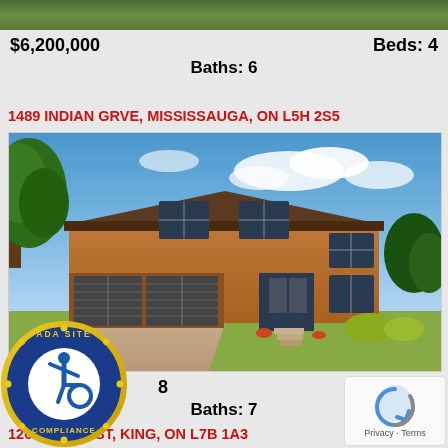[Figure (photo): Top strip of green lawn/grass from previous property listing]
$6,200,000   Beds: 4
Baths: 6
1489 INDIAN GRVE, MISSISSAUGA, ON L5H 2S5
[Figure (photo): Two-storey brick house with double garage doors, blue sky, trees, and landscaping at 1489 Indian Grve, Mississauga]
$6,200,0 8   Beds: 6
Baths: 7
12699 JANE ST, KING, ON L7B 1A3
[Figure (logo): ADA Site Compliance circular badge with wheelchair accessibility icon]
[Figure (logo): Google reCAPTCHA logo with Privacy and Terms text]